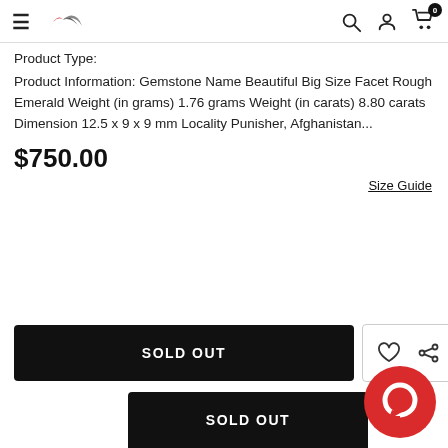Navigation header with hamburger menu, logo, search, account, and cart icons
Product Type:
Product Information: Gemstone Name Beautiful Big Size Facet Rough Emerald Weight (in grams) 1.76 grams Weight (in carats) 8.80 carats Dimension 12.5 x 9 x 9 mm Locality Punisher, Afghanistan...
$750.00
Size Guide
SOLD OUT
SOLD OUT